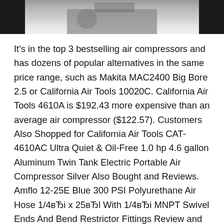[Figure (photo): Partial photo of an air compressor on a surface, cropped at top of page showing bottom portion of the equipment with a white background behind it.]
It's in the top 3 bestselling air compressors and has dozens of popular alternatives in the same price range, such as Makita MAC2400 Big Bore 2.5 or California Air Tools 10020C. California Air Tools 4610A is $192.43 more expensive than an average air compressor ($122.57). Customers Also Shopped for California Air Tools CAT-4610AC Ultra Quiet & Oil-Free 1.0 hp 4.6 gallon Aluminum Twin Tank Electric Portable Air Compressor Silver Also Bought and Reviews. Amflo 12-25E Blue 300 PSI Polyurethane Air Hose 1/4вЂі x 25вЂl With 1/4вЂі MNPT Swivel Ends And Bend Restrictor Fittings Review and